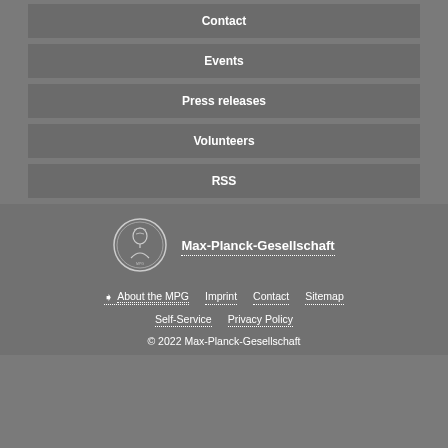Contact
Events
Press releases
Volunteers
RSS
[Figure (logo): Max-Planck-Gesellschaft circular coin logo with woman profile]
Max-Planck-Gesellschaft
↗ About the MPG   Imprint   Contact   Sitemap
Self-Service   Privacy Policy
© 2022 Max-Planck-Gesellschaft